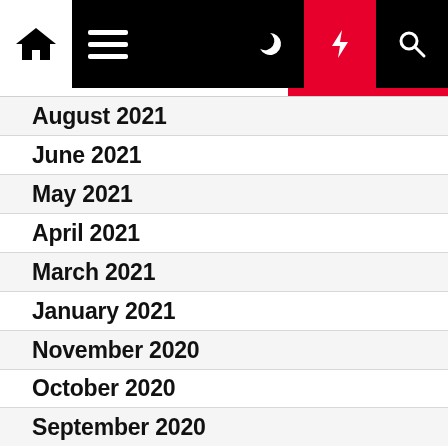Navigation bar with home, menu, dark mode, lightning, and search icons
August 2021
June 2021
May 2021
April 2021
March 2021
January 2021
November 2020
October 2020
September 2020